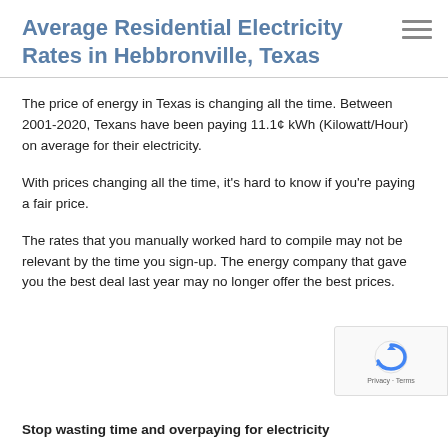Average Residential Electricity Rates in Hebbronville, Texas
The price of energy in Texas is changing all the time. Between 2001-2020, Texans have been paying 11.1¢ kWh (Kilowatt/Hour) on average for their electricity.
With prices changing all the time, it’s hard to know if you’re paying a fair price.
The rates that you manually worked hard to compile may not be relevant by the time you sign-up. The energy company that gave you the best deal last year may no longer offer the best prices.
[Figure (logo): reCAPTCHA badge with refresh icon and Privacy/Terms text]
Stop wasting time and overpaying for electricity